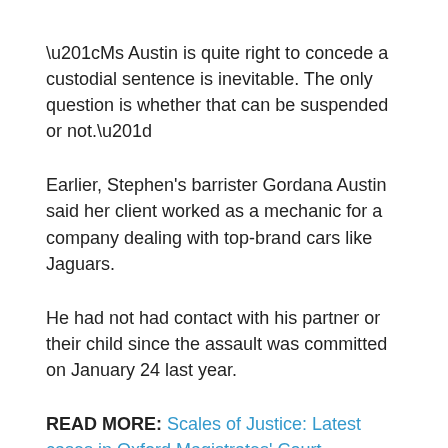“Ms Austin is quite right to concede a custodial sentence is inevitable. The only question is whether that can be suspended or not.”
Earlier, Stephen’s barrister Gordana Austin said her client worked as a mechanic for a company dealing with top-brand cars like Jaguars.
He had not had contact with his partner or their child since the assault was committed on January 24 last year.
READ MORE: Scales of Justice: Latest cases in Oxford Magistrates’ Court
Stephen, of Balmoral Avenue, Banbury, was bailed to return to court on July 11 for sentence, by which time the probation